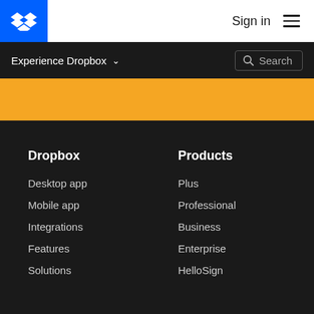[Figure (logo): Dropbox logo — white diamond pattern on blue background]
Sign in
[Figure (other): Hamburger menu icon (three horizontal lines)]
Experience Dropbox ∨
Search
[Figure (other): Orange banner strip]
Dropbox
Desktop app
Mobile app
Integrations
Features
Solutions
Products
Plus
Professional
Business
Enterprise
HelloSign